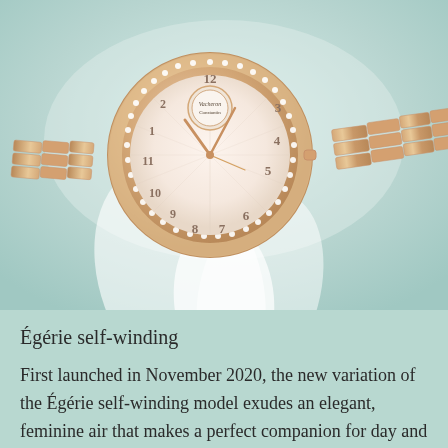[Figure (photo): A rose gold Vacheron Constantin Égérie self-winding watch with a diamond-set bezel, white dial with Arabic numerals, and rose gold bracelet, photographed against a soft white/light teal background.]
Égérie self-winding
First launched in November 2020, the new variation of the Égérie self-winding model exudes an elegant, feminine air that makes a perfect companion for day and night. Part of